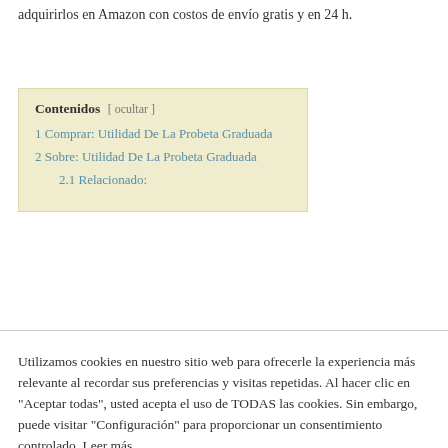adquirirlos en Amazon con costos de envío gratis y en 24 h.
| Contenidos |
| --- |
| 1 Comprar: Utilidad De La Probeta Graduada |
| 2 Sobre: Utilidad De La Probeta Graduada |
| 2.1 Relacionado: |
Utilizamos cookies en nuestro sitio web para ofrecerle la experiencia más relevante al recordar sus preferencias y visitas repetidas. Al hacer clic en "Aceptar todas", usted acepta el uso de TODAS las cookies. Sin embargo, puede visitar "Configuración" para proporcionar un consentimiento controlado. Leer más
Configuración
Aceptar todo